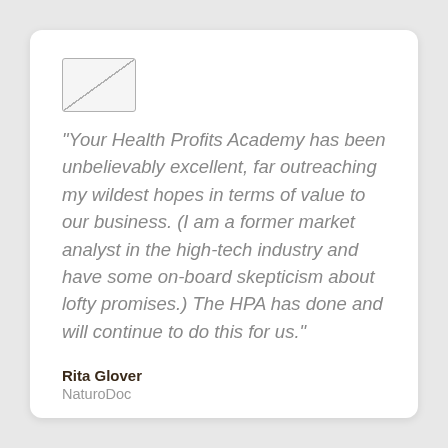[Figure (logo): Small rectangular logo placeholder with diagonal line]
"Your Health Profits Academy has been unbelievably excellent, far outreaching my wildest hopes in terms of value to our business. (I am a former market analyst in the high-tech industry and have some on-board skepticism about lofty promises.) The HPA has done and will continue to do this for us."
Rita Glover
NaturoDoc